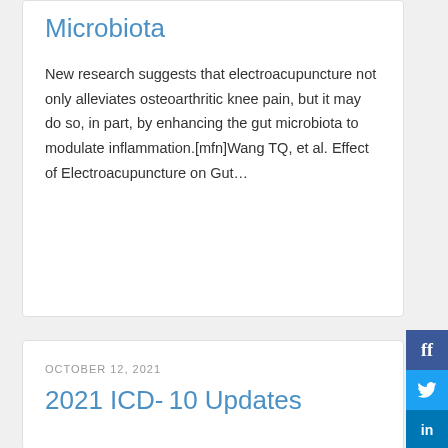Microbiota
New research suggests that electroacupuncture not only alleviates osteoarthritic knee pain, but it may do so, in part, by enhancing the gut microbiota to modulate inflammation.[mfn]Wang TQ, et al. Effect of Electroacupuncture on Gut...
OCTOBER 12, 2021
2021 ICD-10 Updates